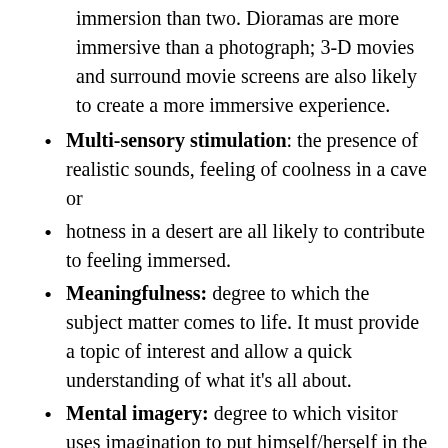immersion than two. Dioramas are more immersive than a photograph; 3-D movies and surround movie screens are also likely to create a more immersive experience.
Multi-sensory stimulation: the presence of realistic sounds, feeling of coolness in a cave or
hotness in a desert are all likely to contribute to feeling immersed.
Meaningfulness: degree to which the subject matter comes to life. It must provide a topic of interest and allow a quick understanding of what it's all about.
Mental imagery: degree to which visitor uses imagination to put himself/herself in the time and place.